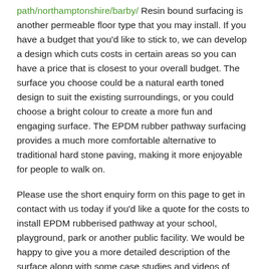path/northamptonshire/barby/ Resin bound surfacing is another permeable floor type that you may install. If you have a budget that you'd like to stick to, we can develop a design which cuts costs in certain areas so you can have a price that is closest to your overall budget. The surface you choose could be a natural earth toned design to suit the existing surroundings, or you could choose a bright colour to create a more fun and engaging surface. The EPDM rubber pathway surfacing provides a much more comfortable alternative to traditional hard stone paving, making it more enjoyable for people to walk on.
Please use the short enquiry form on this page to get in contact with us today if you'd like a quote for the costs to install EPDM rubberised pathway at your school, playground, park or another public facility. We would be happy to give you a more detailed description of the surface along with some case studies and videos of projects we have completed in the past.
Wet Pour Walkway Surfaces
One of our mos popular walkway surfaces available nearby is actually wetpour rubber flooring. Wet pour is like rubberized